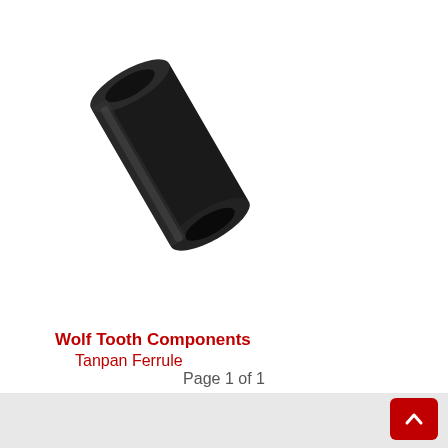[Figure (photo): A black cylindrical metal ferrule (Wolf Tooth Components Tanpan Ferrule) photographed at a slight angle on a white background]
Wolf Tooth Components Tanpan Ferrule
$7.99
Page 1 of 1